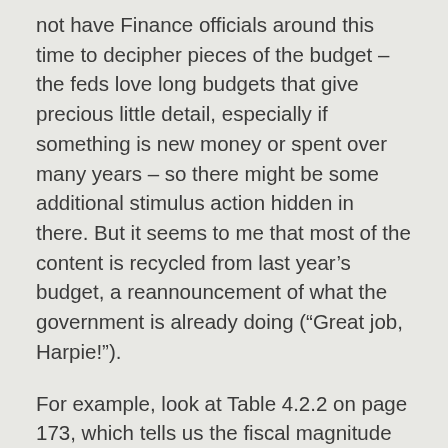not have Finance officials around this time to decipher pieces of the budget – the feds love long budgets that give precious little detail, especially if something is new money or spent over many years – so there might be some additional stimulus action hidden in there. But it seems to me that most of the content is recycled from last year’s budget, a reannouncement of what the government is already doing (“Great job, Harpie!”).
For example, look at Table 4.2.2 on page 173, which tells us the fiscal magnitude of actions taken in this year’s budget. It shows 2010/11 with a status quo deficit of $48.9 billion. New measures proposed in the budget total $1.1 billion, offset by $800 million in cuts elsewhere, for a net increase in the deficit of $300 million. Underwhelming, to say the least.